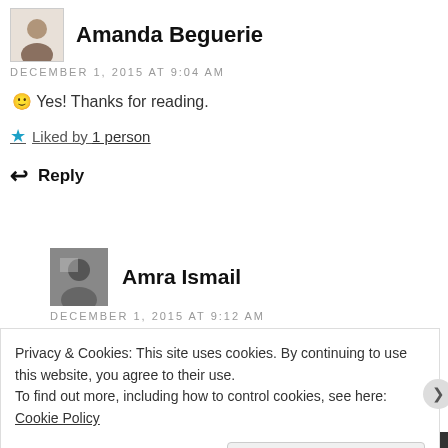Amanda Beguerie
DECEMBER 1, 2015 AT 9:04 AM
🙂 Yes! Thanks for reading.
★ Liked by 1 person
↩ Reply
Amra Ismail
DECEMBER 1, 2015 AT 9:12 AM
Privacy & Cookies: This site uses cookies. By continuing to use this website, you agree to their use. To find out more, including how to control cookies, see here: Cookie Policy
Close and accept